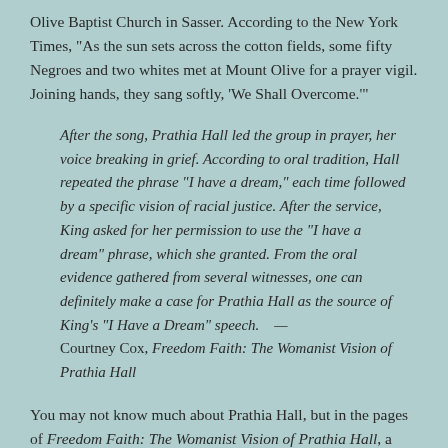Olive Baptist Church in Sasser. According to the New York Times, “As the sun sets across the cotton fields, some fifty Negroes and two whites met at Mount Olive for a prayer vigil. Joining hands, they sang softly, ‘We Shall Overcome.’”
After the song, Prathia Hall led the group in prayer, her voice breaking in grief. According to oral tradition, Hall repeated the phrase “I have a dream,” each time followed by a specific vision of racial justice. After the service, King asked for her permission to use the “I have a dream” phrase, which she granted. From the oral evidence gathered from several witnesses, one can definitely make a case for Prathia Hall as the source of King’s “I Have a Dream” speech. — Courtney Cox, Freedom Faith: The Womanist Vision of Prathia Hall
You may not know much about Prathia Hall, but in the pages of Freedom Faith: The Womanist Vision of Prathia Hall, a